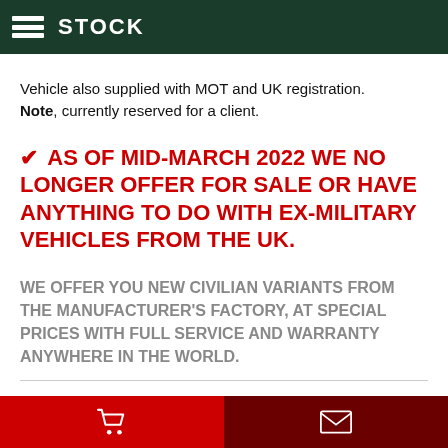STOCK
Vehicle also supplied with MOT and UK registration. Note, currently reserved for a client.
✔ AS OF MID-MARCH 2022 WE NO LONGER OFFER FOR SALE OR HAVE ANYTHING TO DO WITH EX-MILITARY VEHICLES FROM THE UK.
WE OFFER YOU NEW CIVILIAN VARIANTS FROM THE MANUFACTURER'S FACTORY, AT SPECIAL PRICES WITH FULL SERVICE AND WARRANTY ANYWHERE IN THE WORLD.
Cart | Envelope